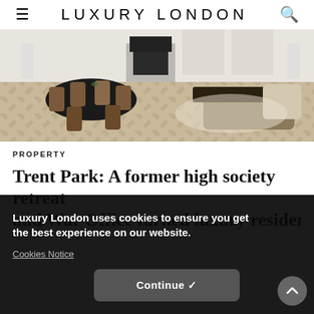LUXURY LONDON
[Figure (photo): Interior of a luxurious open-plan living and dining room with herringbone wood floors, dark round dining table with leather chairs, and a velvet sofa with a sideboard in the background.]
PROPERTY
Trent Park: A former high society retreat and War Office turned luxury residential
Luxury London uses cookies to ensure you get the best experience on our website.
Cookies Notice
Continue ✓